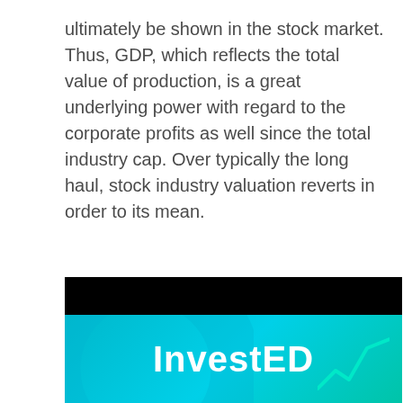ultimately be shown in the stock market. Thus, GDP, which reflects the total value of production, is a great underlying power with regard to the corporate profits as well since the total industry cap. Over typically the long haul, stock industry valuation reverts in order to its mean.
[Figure (logo): InvestED logo on a black and teal banner background with a stock market line chart icon on the right]